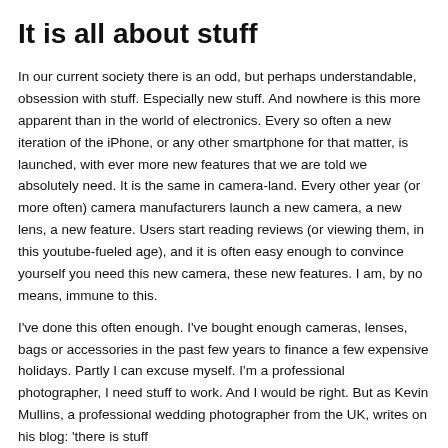It is all about stuff
In our current society there is an odd, but perhaps understandable, obsession with stuff. Especially new stuff. And nowhere is this more apparent than in the world of electronics. Every so often a new iteration of the iPhone, or any other smartphone for that matter, is launched, with ever more new features that we are told we absolutely need. It is the same in camera-land. Every other year (or more often) camera manufacturers launch a new camera, a new lens, a new feature. Users start reading reviews (or viewing them, in this youtube-fueled age), and it is often easy enough to convince yourself you need this new camera, these new features. I am, by no means, immune to this.
I've done this often enough. I've bought enough cameras, lenses, bags or accessories in the past few years to finance a few expensive holidays. Partly I can excuse myself. I'm a professional photographer, I need stuff to work. And I would be right. But as Kevin Mullins, a professional wedding photographer from the UK, writes on his blog: 'there is stuff